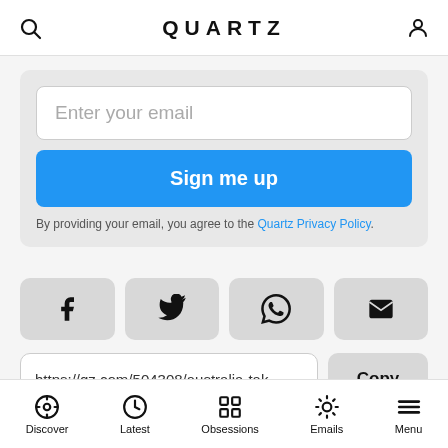QUARTZ
Enter your email
Sign me up
By providing your email, you agree to the Quartz Privacy Policy.
[Figure (screenshot): Social share buttons: Facebook, Twitter, WhatsApp, Email]
https://qz.com/504308/australia-tak
Copy
Discover  Latest  Obsessions  Emails  Menu